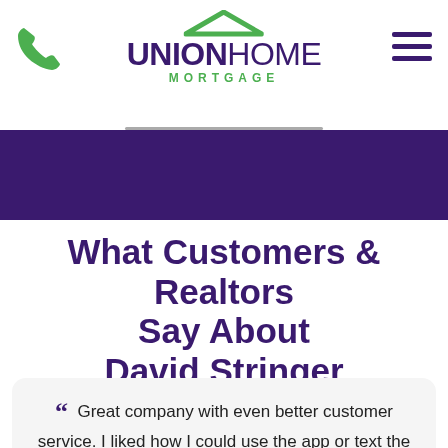Union Home Mortgage
[Figure (logo): Union Home Mortgage logo with green roof icon above text, green phone icon on left, hamburger menu icon on right]
What Customers & Realtors Say About David Stringer
““  Great company with even better customer service. I liked how I could use the app or text the loan officers if I had any questions. You guys made the whole